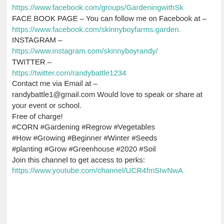https://www.facebook.com/groups/GardeningwithSk FACE BOOK PAGE – You can follow me on Facebook at – https://www.facebook.com/skinnyboyfarms.garden. INSTAGRAM – https://www.instagram.com/skinnyboyrandy/ TWITTER – https://twitter.com/randybattle1234 Contact me via Email at – randybattle1@gmail.com Would love to speak or share at your event or school. Free of charge! #CORN #Gardening #Regrow #Vegetables #How #Growing #Beginner #Winter #Seeds #planting #Grow #Greenhouse #2020 #Soil Join this channel to get access to perks: https://www.youtube.com/channel/UCR4fmSIwNwA